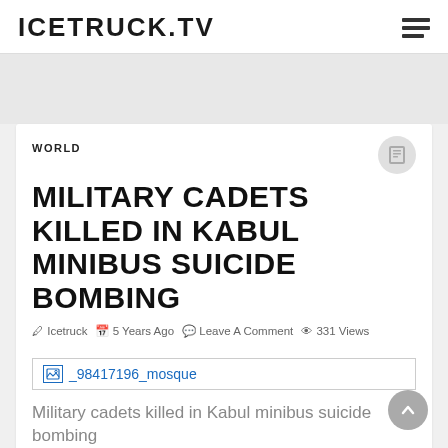ICETRUCK.TV
WORLD
MILITARY CADETS KILLED IN KABUL MINIBUS SUICIDE BOMBING
Icetruck  5 Years Ago  Leave A Comment  331 Views
[Figure (photo): Broken image placeholder labeled _98417196_mosque]
Military cadets killed in Kabul minibus suicide bombing